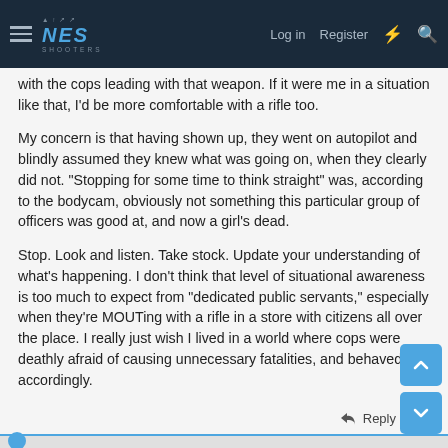NES SHOOTERS — Log in  Register
with the cops leading with that weapon. If it were me in a situation like that, I'd be more comfortable with a rifle too.
My concern is that having shown up, they went on autopilot and blindly assumed they knew what was going on, when they clearly did not. "Stopping for some time to think straight" was, according to the bodycam, obviously not something this particular group of officers was good at, and now a girl's dead.
Stop. Look and listen. Take stock. Update your understanding of what's happening. I don't think that level of situational awareness is too much to expect from "dedicated public servants," especially when they're MOUTing with a rifle in a store with citizens all over the place. I really just wish I lived in a world where cops were deathly afraid of causing unnecessary fatalities, and behaved accordingly.